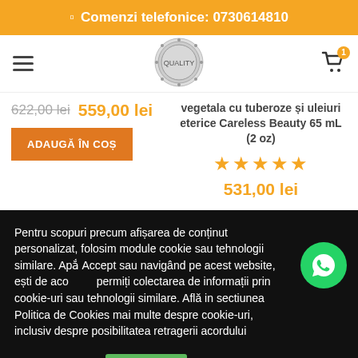Comenzi telefonice: 0730614810
[Figure (logo): Circular logo with decorative border in grayscale]
622,00 lei  559,00 lei
ADAUGĂ ÎN COȘ
vegetala cu tuberoze și uleiuri eterice Careless Beauty 65 mL (2 oz)
★★★★★  531,00 lei
Pentru scopuri precum afișarea de conținut personalizat, folosim module cookie sau tehnologii similare. Apăsând Accept sau navigând pe acest website, ești de acord să permiți colectarea de informații prin cookie-uri sau tehnologii similare. Află in sectiunea Politica de Cookies mai multe despre cookie-uri, inclusiv despre posibilitatea retragerii acordului
Setări cookies
Accept